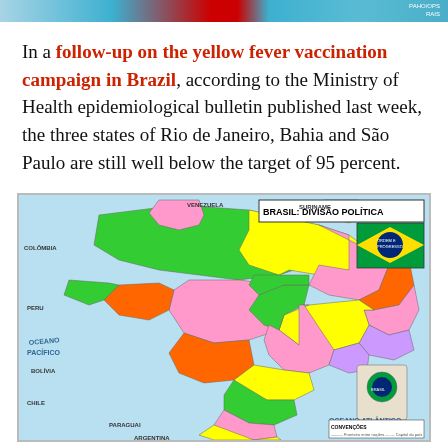In a follow-up on the yellow fever vaccination campaign in Brazil, according to the Ministry of Health epidemiological bulletin published last week, the three states of Rio de Janeiro, Bahia and São Paulo are still well below the target of 95 percent.
[Figure (map): Political map of Brazil (BRASIL: DIVISÃO POLÍTICA) showing states in various colors with labels, Brazilian flag in top right corner, coat of arms in bottom right, surrounded by neighboring countries and oceans labeled OCEANO PACÍFICO and OCEANO ATLÂNTICO.]